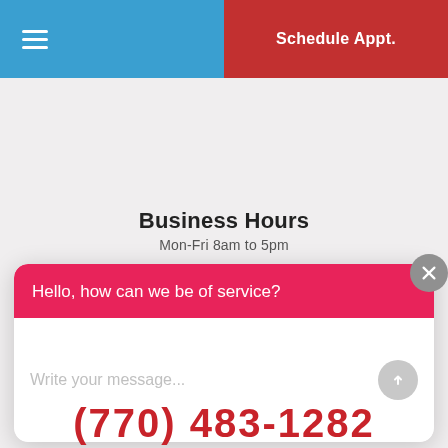☰  |  Schedule Appt.
Business Hours
Mon-Fri 8am to 5pm
Hello, how can we be of service?
Write your message...
(770) 483-1282